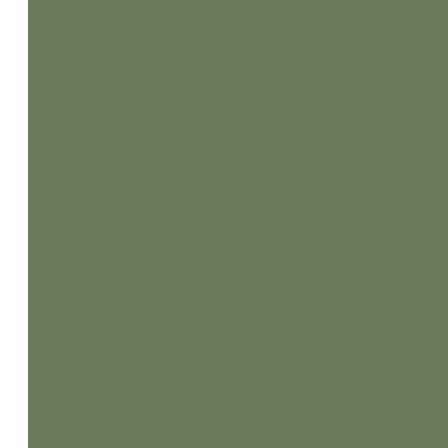[Figure (other): Olive/sage green colored rectangular panel occupying the left portion of the page]
Some convenient tree m Colony may assemble laws will have the title disesteem. In this first p
But as the Colony enc which the members ma on every occasion as a public concerns few a leave the legislative pa are supposed to have t who will act in the sam continue encreasing, it that the interest of ever the whole into conven might never form to th the propriety of having mix again with the ger will be secured by the frequent interchange w will mutually and natu king,) depends the stre
Here then is the origin inability of moral virtu